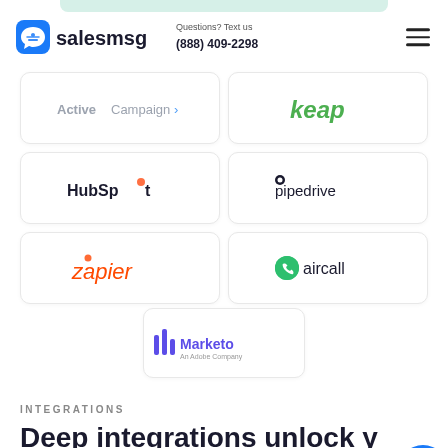salesmsg — Questions? Text us (888) 409-2298
[Figure (logo): ActiveCampaign logo]
[Figure (logo): Keap logo]
[Figure (logo): HubSpot logo]
[Figure (logo): Pipedrive logo]
[Figure (logo): Zapier logo]
[Figure (logo): Aircall logo]
[Figure (logo): Marketo An Adobe Company logo]
INTEGRATIONS
Deep integrations unlock your SMS superpowers